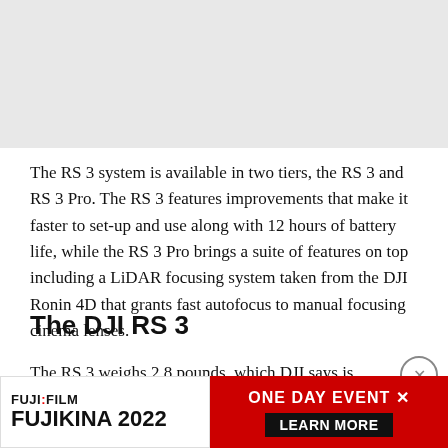[Figure (photo): Gray placeholder image at the top of the page]
The RS 3 system is available in two tiers, the RS 3 and RS 3 Pro. The RS 3 features improvements that make it faster to set-up and use along with 12 hours of battery life, while the RS 3 Pro brings a suite of features on top including a LiDAR focusing system taken from the DJI Ronin 4D that grants fast autofocus to manual focusing cinema lenses.
The DJI RS 3
The RS 3 weighs 2.8 pounds, which DJI says is light enough
[Figure (screenshot): Fujifilm Fujikina 2022 One Day Event advertisement banner with red background and Learn More button]